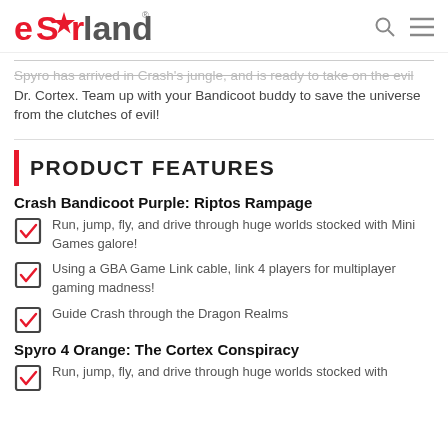eStarland
Spyro has arrived in Crash's jungle, and is ready to take on the evil Dr. Cortex. Team up with your Bandicoot buddy to save the universe from the clutches of evil!
PRODUCT FEATURES
Crash Bandicoot Purple: Riptos Rampage
Run, jump, fly, and drive through huge worlds stocked with Mini Games galore!
Using a GBA Game Link cable, link 4 players for multiplayer gaming madness!
Guide Crash through the Dragon Realms
Spyro 4 Orange: The Cortex Conspiracy
Run, jump, fly, and drive through huge worlds stocked with